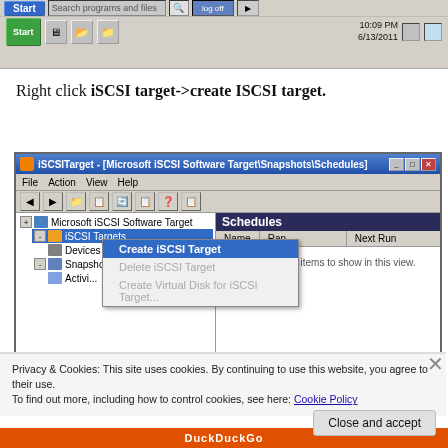[Figure (screenshot): Windows taskbar screenshot showing Start button, search bar, and system tray with time 10:09 PM and date 6/13/2011]
Right click iSCSI target->create ISCSI target.
[Figure (screenshot): iSCSITarget Microsoft iSCSI Software Target application window showing context menu with 'Create iSCSI Target' option highlighted, Schedules panel on right showing no items, and a cookie consent banner overlay]
Privacy & Cookies: This site uses cookies. By continuing to use this website, you agree to their use.
To find out more, including how to control cookies, see here: Cookie Policy
Close and accept